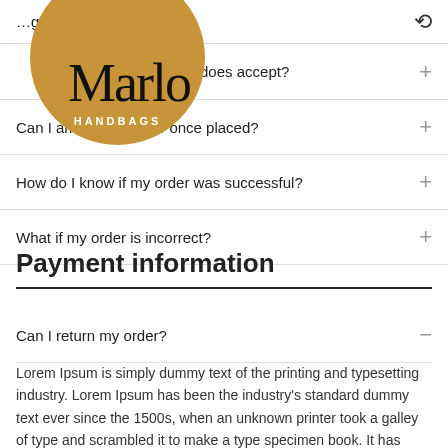[Figure (logo): Circular tan/brown logo with script handwriting text and 'HANDBAGS' in white capital letters]
...g an order?
Wh... does accept?
Can I amend my order once placed?
How do I know if my order was successful?
What if my order is incorrect?
Payment information
Can I return my order?
Lorem Ipsum is simply dummy text of the printing and typesetting industry. Lorem Ipsum has been the industry's standard dummy text ever since the 1500s, when an unknown printer took a galley of type and scrambled it to make a type specimen book. It has survived not only five centuries, but also the leap into electronic typesetting,